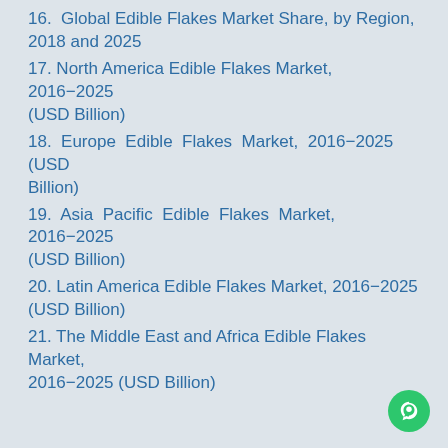16. Global Edible Flakes Market Share, by Region, 2018 and 2025
17. North America Edible Flakes Market, 2016–2025 (USD Billion)
18. Europe Edible Flakes Market, 2016–2025 (USD Billion)
19. Asia Pacific Edible Flakes Market, 2016–2025 (USD Billion)
20. Latin America Edible Flakes Market, 2016–2025 (USD Billion)
21. The Middle East and Africa Edible Flakes Market, 2016–2025 (USD Billion)